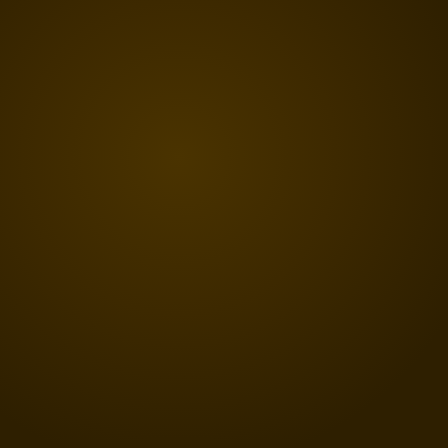[Figure (other): Solid dark brown/olive colored background filling the entire page with slight tonal variation suggesting a scanned or photographed dark surface.]